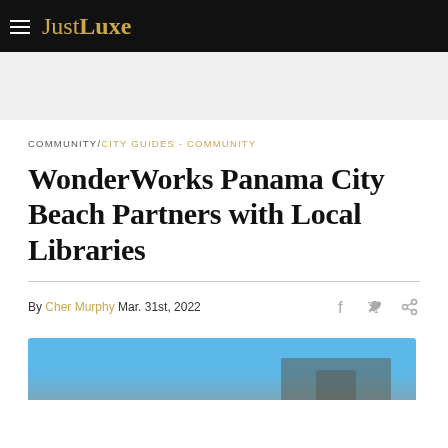JustLuxe
COMMUNITY/CITY GUIDES - COMMUNITY
WonderWorks Panama City Beach Partners with Local Libraries
By Cher Murphy Mar. 31st, 2022
[Figure (photo): Partial view of a building photograph at the bottom of the page, showing blue sky and a structure]